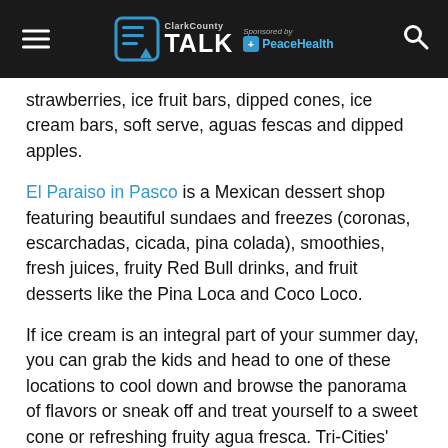ClarkCounty TALK — Sponsored by PeaceHealth
strawberries, ice fruit bars, dipped cones, ice cream bars, soft serve, aguas fescas and dipped apples.
El Paraiso in Pasco is a Mexican dessert shop featuring beautiful sundaes and freezes (coronas, escarchadas, cicada, pina colada), smoothies, fresh juices, fruity Red Bull drinks, and fruit desserts like the Pina Loca and Coco Loco.
If ice cream is an integral part of your summer day, you can grab the kids and head to one of these locations to cool down and browse the panorama of flavors or sneak off and treat yourself to a sweet cone or refreshing fruity agua fresca. Tri-Cities' extensive blend of frozen treats will tempt you to try them all.